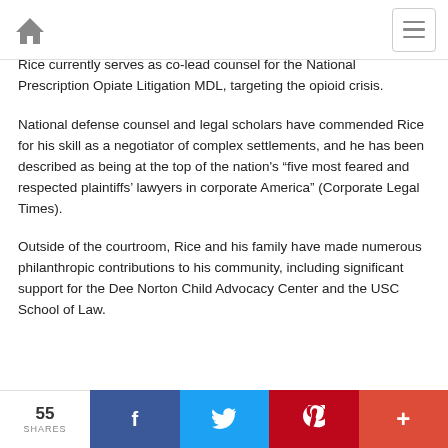Home | Menu
Rice currently serves as co-lead counsel for the National Prescription Opiate Litigation MDL, targeting the opioid crisis.
National defense counsel and legal scholars have commended Rice for his skill as a negotiator of complex settlements, and he has been described as being at the top of the nation's “five most feared and respected plaintiffs’ lawyers in corporate America” (Corporate Legal Times).
Outside of the courtroom, Rice and his family have made numerous philanthropic contributions to his community, including significant support for the Dee Norton Child Advocacy Center and the USC School of Law.
55 SHARES | Share on Facebook | Share on Twitter | Share on Pinterest | More